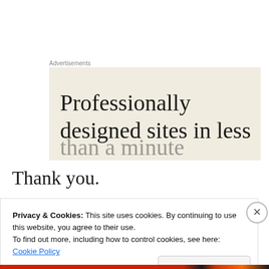Advertisements
[Figure (illustration): Advertisement banner with cream/beige background showing text: 'Professionally designed sites in less' (text continues below visible area)]
Thank you.
[Figure (photo): Photo of a person lying down, partially visible, with curly brown hair against white fabric/pillow]
Privacy & Cookies: This site uses cookies. By continuing to use this website, you agree to their use.
To find out more, including how to control cookies, see here: Cookie Policy
Close and accept